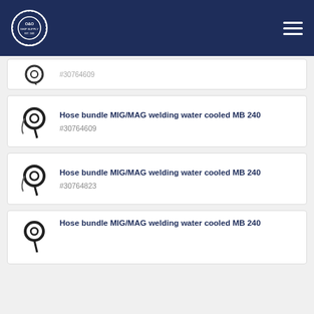O&O Ship Supply
[Figure (other): Partial product card showing hose bundle image and partial SKU text]
Hose bundle MIG/MAG welding water cooled MB 240 #30764609
Hose bundle MIG/MAG welding water cooled MB 240 #30764823
Hose bundle MIG/MAG welding water cooled MB 240